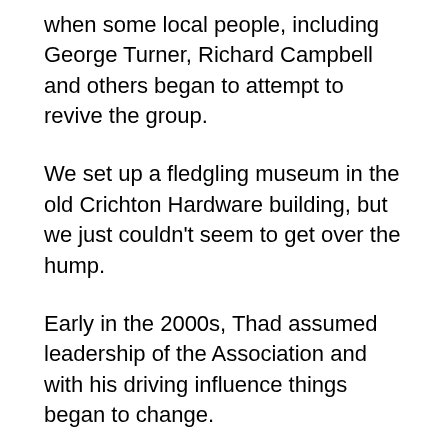when some local people, including George Turner, Richard Campbell and others began to attempt to revive the group.
We set up a fledgling museum in the old Crichton Hardware building, but we just couldn't seem to get over the hump.
Early in the 2000s, Thad assumed leadership of the Association and with his driving influence things began to change.
He began an aggressive fund-raising approach and strove to make the Association a thriving group and move toward the establishment of a first-class museum.